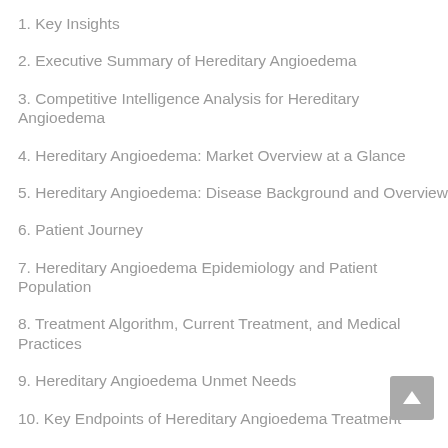1. Key Insights
2. Executive Summary of Hereditary Angioedema
3. Competitive Intelligence Analysis for Hereditary Angioedema
4. Hereditary Angioedema: Market Overview at a Glance
5. Hereditary Angioedema: Disease Background and Overview
6. Patient Journey
7. Hereditary Angioedema Epidemiology and Patient Population
8. Treatment Algorithm, Current Treatment, and Medical Practices
9. Hereditary Angioedema Unmet Needs
10. Key Endpoints of Hereditary Angioedema Treatment
11. Hereditary Angioedema Marketed Products
12. Hereditary Angioedema Emerging Therapies
13. Hereditary Angioedema: Seven Major Market Analysis